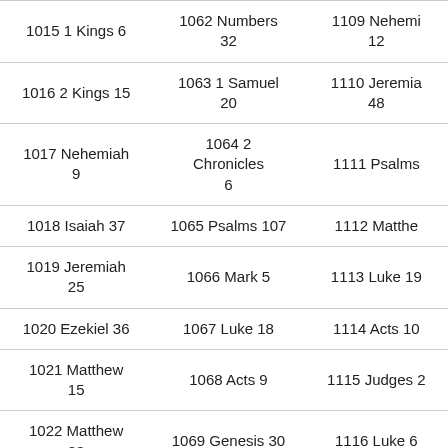| 1015 1 Kings 6 | 1062 Numbers 32 | 1109 Nehemiah 12 |
| 1016 2 Kings 15 | 1063 1 Samuel 20 | 1110 Jeremiah 48 |
| 1017 Nehemiah 9 | 1064 2 Chronicles 6 | 1111 Psalms |
| 1018 Isaiah 37 | 1065 Psalms 107 | 1112 Matthew |
| 1019 Jeremiah 25 | 1066 Mark 5 | 1113 Luke 19 |
| 1020 Ezekiel 36 | 1067 Luke 18 | 1114 Acts 10 |
| 1021 Matthew 15 | 1068 Acts 9 | 1115 Judges 2 |
| 1022 Matthew 23 | 1069 Genesis 30 | 1116 Luke 6 |
| 1023 Luke 5 | 1070 Genesis 36 | 1117 Numbers |